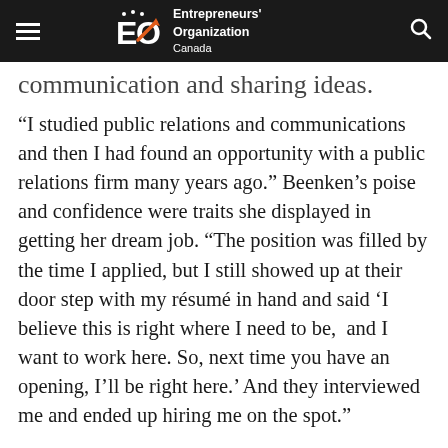EO Entrepreneurs' Organization Canada
communication and sharing ideas.
“I studied public relations and communications and then I had found an opportunity with a public relations firm many years ago.” Beenken’s poise and confidence were traits she displayed in getting her dream job. “The position was filled by the time I applied, but I still showed up at their door step with my résumé in hand and said ‘I believe this is right where I need to be,  and I want to work here. So, next time you have an opening, I’ll be right here.’ And they interviewed me and ended up hiring me on the spot.”